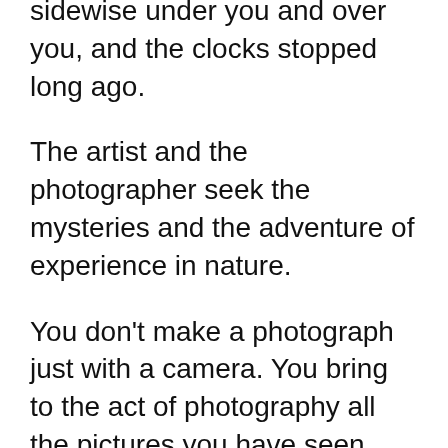sidewise under you and over you, and the clocks stopped long ago.
The artist and the photographer seek the mysteries and the adventure of experience in nature.
You don’t make a photograph just with a camera. You bring to the act of photography all the pictures you have seen, the books you have read, the music you have heard, the people you have loved.
Photography, as a powerful medium of expression and communications, offers an infinite variety of perception, interpretation and execution.